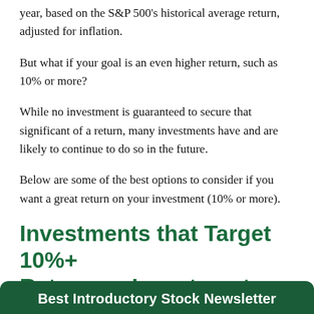year, based on the S&P 500's historical average return, adjusted for inflation.
But what if your goal is an even higher return, such as 10% or more?
While no investment is guaranteed to secure that significant of a return, many investments have and are likely to continue to do so in the future.
Below are some of the best options to consider if you want a great return on your investment (10% or more).
Investments that Target 10%+ Return on Investment—Top Picks
Best Introductory Stock Newsletter